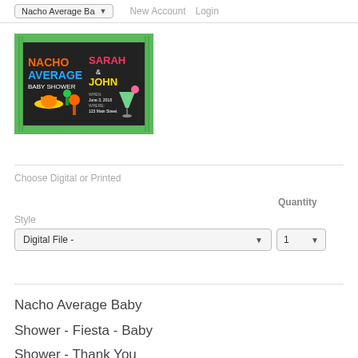Nacho Average Ba ▾  New Account  Login
[Figure (illustration): Nacho Average Baby Shower invitation card with colorful text on black background with green striped border. Text reads 'Nacho Average Baby Shower' with names Sarah and John and fiesta-themed graphics including sombrero and margarita.]
Choose Digital or Printed
Style
Quantity
Digital File -
1
Nacho Average Baby
Shower - Fiesta - Baby
Shower - Thank You